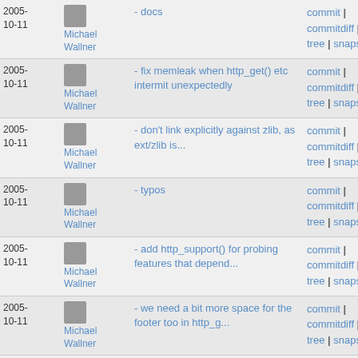| Date | Author | Commit message | Links |
| --- | --- | --- | --- |
| 2005-10-11 | Michael Wallner | - docs | commit | commitdiff | tree | snapshot |
| 2005-10-11 | Michael Wallner | - fix memleak when http_get() etc intermit unexpectedly | commit | commitdiff | tree | snapshot |
| 2005-10-11 | Michael Wallner | - don't link explicitly against zlib, as ext/zlib is... | commit | commitdiff | tree | snapshot |
| 2005-10-11 | Michael Wallner | - typos | commit | commitdiff | tree | snapshot |
| 2005-10-11 | Michael Wallner | - add http_support() for probing features that depend... | commit | commitdiff | tree | snapshot |
| 2005-10-11 | Michael Wallner | - we need a bit more space for the footer too in http_g... | commit | commitdiff | tree | snapshot |
| 2005-10-10 | Michael Wallner | - fix test if ext/zlib is not loaded | commit | commitdiff | tree | snapshot |